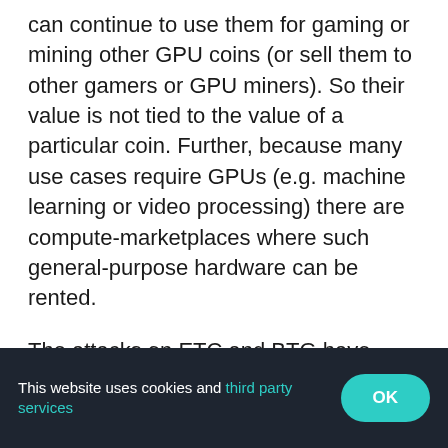can continue to use them for gaming or mining other GPU coins (or sell them to other gamers or GPU miners). So their value is not tied to the value of a particular coin. Further, because many use cases require GPUs (e.g. machine learning or video processing) there are compute-marketplaces where such general-purpose hardware can be rented.
The attacks on ETC and BTG have been executed with such rented hardware, allowing a miner to acquire temporary power over a network without forcing them to enter a long-term commitment to the particular cryptocurrency.
This website uses cookies and third party services